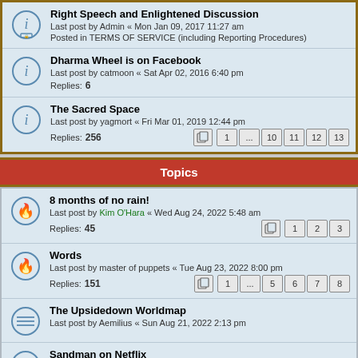Right Speech and Enlightened Discussion — Last post by Admin « Mon Jan 09, 2017 11:27 am — Posted in TERMS OF SERVICE (including Reporting Procedures)
Dharma Wheel is on Facebook — Last post by catmoon « Sat Apr 02, 2016 6:40 pm — Replies: 6
The Sacred Space — Last post by yagmort « Fri Mar 01, 2019 12:44 pm — Replies: 256 — pages 1 ... 10 11 12 13
Topics
8 months of no rain! — Last post by Kim O'Hara « Wed Aug 24, 2022 5:48 am — Replies: 45 — pages 1 2 3
Words — Last post by master of puppets « Tue Aug 23, 2022 8:00 pm — Replies: 151 — pages 1 ... 5 6 7 8
The Upsidedown Worldmap — Last post by Aemilius « Sun Aug 21, 2022 2:13 pm
Sandman on Netflix — Last post by Toenail « Fri Aug 19, 2022 8:51 am
The Grave Commusocialist Danger to Your Latte — Last post by Kim O'Hara « Thu Aug 18, 2022 2:29 am — Replies: 12